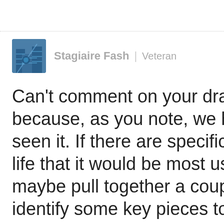[Figure (photo): Small square avatar image showing a blue architectural/building scene with geometric shapes]
Stagiaire Fash | Veteran
Can't comment on your dramatic si because, as you note, we haven't re seen it. If there are specific parts of v life that it would be most useful for, maybe pull together a couple outfit identify some key pieces to start wearing them, and see if it spreads